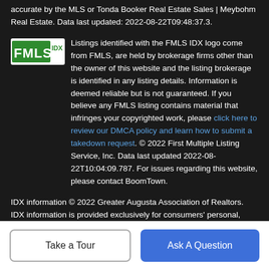accurate by the MLS or Tonda Booker Real Estate Sales | Meybohm Real Estate. Data last updated: 2022-08-22T09:48:37.3.
Listings identified with the FMLS IDX logo come from FMLS, are held by brokerage firms other than the owner of this website and the listing brokerage is identified in any listing details. Information is deemed reliable but is not guaranteed. If you believe any FMLS listing contains material that infringes your copyrighted work, please click here to review our DMCA policy and learn how to submit a takedown request. © 2022 First Multiple Listing Service, Inc. Data last updated 2022-08-22T10:04:09.787. For issues regarding this website, please contact BoomTown.
IDX information © 2022 Greater Augusta Association of Realtors. IDX information is provided exclusively for consumers' personal, non-commercial use and may not be used for any purpose other than to identify prospective properties consumers may be interested in purchasing. Information is believed to be accurate but
Take a Tour
Ask A Question